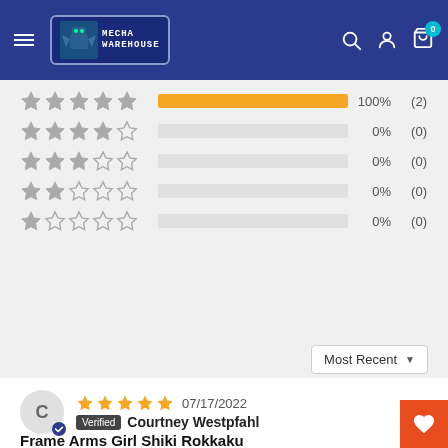[Figure (logo): Mecha Warehouse logo with robot mascot on blue header with navigation icons]
[Figure (bar-chart): Rating distribution]
Most Recent
07/17/2022
Verified  Courtney Westpfahl
Frame Arms Girl Shiki Rokkaku
Great build! Love the Frame Arm girls kits! Will order more in the future